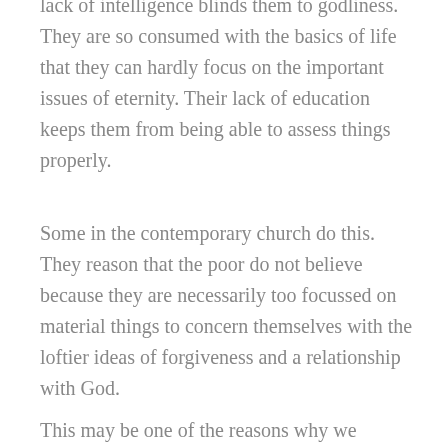lack of intelligence blinds them to godliness. They are so consumed with the basics of life that they can hardly focus on the important issues of eternity. Their lack of education keeps them from being able to assess things properly.
Some in the contemporary church do this. They reason that the poor do not believe because they are necessarily too focussed on material things to concern themselves with the loftier ideas of forgiveness and a relationship with God.
This may be one of the reasons why we